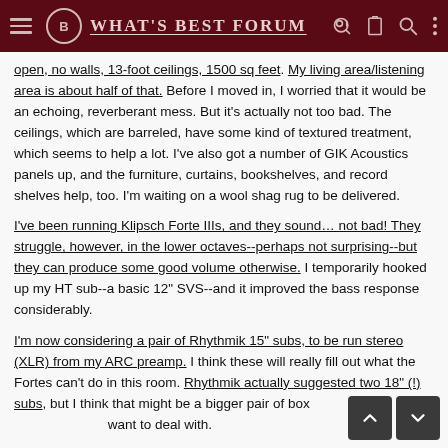WHAT'S BEST FORUM
open, no walls, 13-foot ceilings, 1500 sq feet. My living area/listening area is about half of that. Before I moved in, I worried that it would be an echoing, reverberant mess. But it's actually not too bad. The ceilings, which are barreled, have some kind of textured treatment, which seems to help a lot. I've also got a number of GIK Acoustics panels up, and the furniture, curtains, bookshelves, and record shelves help, too. I'm waiting on a wool shag rug to be delivered.
I've been running Klipsch Forte IIIs, and they sound… not bad! They struggle, however, in the lower octaves--perhaps not surprising--but they can produce some good volume otherwise. I temporarily hooked up my HT sub--a basic 12" SVS--and it improved the bass response considerably.
I'm now considering a pair of Rhythmik 15" subs, to be run stereo (XLR) from my ARC preamp. I think these will really fill out what the Fortes can't do in this room. Rhythmik actually suggested two 18" (!) subs, but I think that might be a bigger pair of boxes than I want to deal with.